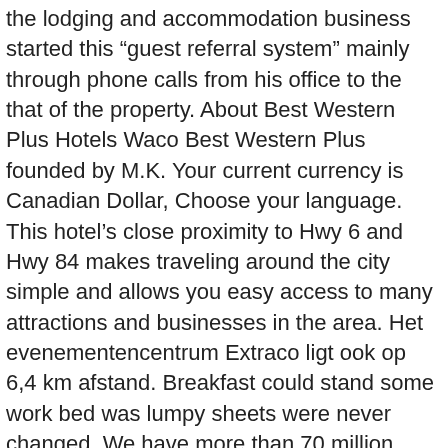the lodging and accommodation business started this “guest referral system” mainly through phone calls from his office to the that of the property. About Best Western Plus Hotels Waco Best Western Plus founded by M.K. Your current currency is Canadian Dollar, Choose your language. This hotel’s close proximity to Hwy 6 and Hwy 84 makes traveling around the city simple and allows you easy access to many attractions and businesses in the area. Het evenementencentrum Extraco ligt ook op 6,4 km afstand. Breakfast could stand some work bed was lumpy sheets were never changed. We have more than 70 million property reviews, all from real, verified guests. Our updated, non-smoking property and spacious guest rooms are ready for you to stay with us! I was happy with the choices and I am a breakfast eater. Error: 330 reviews. The breakfast was very good with the usual eggs, sausage, potatoes variety. We want you to share your story, with both the good and the not-so-good. ▩ Avoid using profanity or approximations of profanity with creative spelling – in any language. We houden je